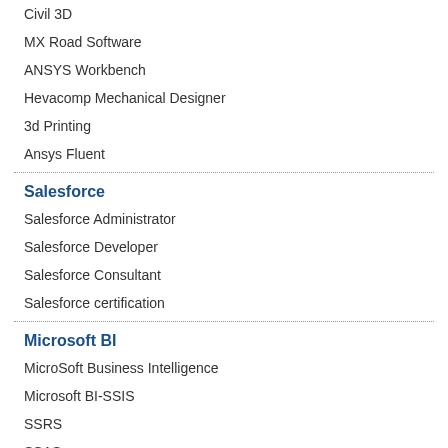Civil 3D
MX Road Software
ANSYS Workbench
Hevacomp Mechanical Designer
3d Printing
Ansys Fluent
Salesforce
Salesforce Administrator
Salesforce Developer
Salesforce Consultant
Salesforce certification
Microsoft BI
MicroSoft Business Intelligence
Microsoft BI-SSIS
SSRS
SSAS
MDX